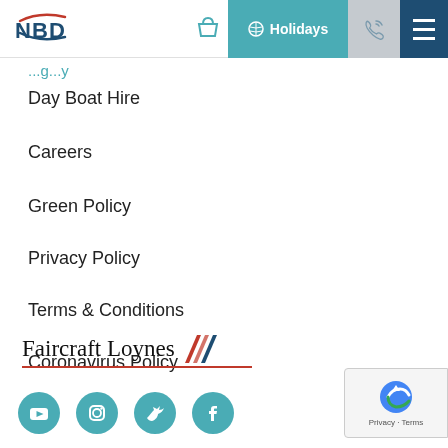NBD logo | basket | Holidays | phone | menu
Day Boat Hire
Careers
Green Policy
Privacy Policy
Terms & Conditions
Coronavirus Policy
[Figure (logo): Faircraft Loynes logo with red diagonal stripes and red underline]
[Figure (infographic): Social media icons: YouTube, Instagram, Twitter, Facebook - teal circles]